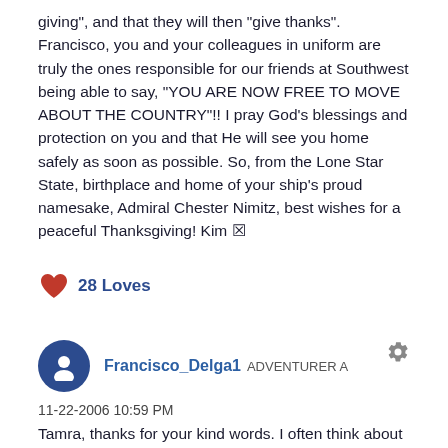giving", and that they will then "give thanks". Francisco, you and your colleagues in uniform are truly the ones responsible for our friends at Southwest being able to say, "YOU ARE NOW FREE TO MOVE ABOUT THE COUNTRY"!! I pray God's blessings and protection on you and that He will see you home safely as soon as possible. So, from the Lone Star State, birthplace and home of your ship's proud namesake, Admiral Chester Nimitz, best wishes for a peaceful Thanksgiving! Kim 🕊
28 Loves
Francisco_Delga1  ADVENTURER A
11-22-2006 10:59 PM
Tamra, thanks for your kind words. I often think about all of the children, husbands and wives, who are without their loved ones. Our familes back home play such an important